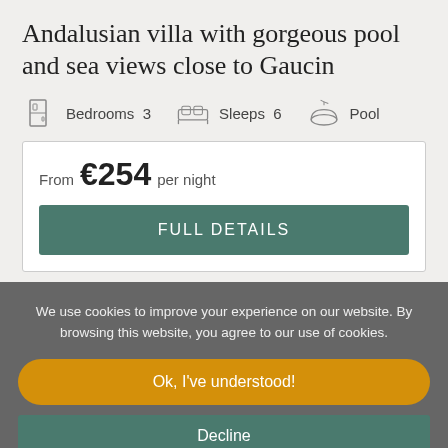Andalusian villa with gorgeous pool and sea views close to Gaucin
Bedrooms 3   Sleeps 6   Pool
From €254 per night
FULL DETAILS
We use cookies to improve your experience on our website. By browsing this website, you agree to our use of cookies.
Ok, I've understood!
Decline
Settings
More Info